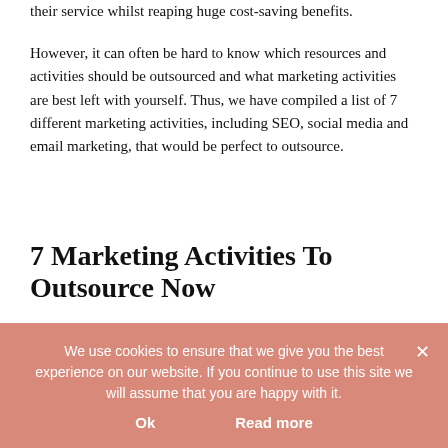their service whilst reaping huge cost-saving benefits.
However, it can often be hard to know which resources and activities should be outsourced and what marketing activities are best left with yourself. Thus, we have compiled a list of 7 different marketing activities, including SEO, social media and email marketing, that would be perfect to outsource.
7 Marketing Activities To Outsource Now
SEO
We use cookies to ensure that we give you the best experience on our website. If you continue to use this site we will assume that you are happy with it.
Ok
Read more